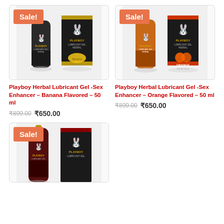[Figure (photo): Playboy Herbal Lubricant Gel Banana Flavored 50ml bottle and box with Sale! badge]
[Figure (photo): Playboy Herbal Lubricant Gel Orange Flavored 50ml bottle and box with Sale! badge]
Playboy Herbal Lubricant Gel -Sex Enhancer – Banana Flavored – 50 ml
Playboy Herbal Lubricant Gel -Sex Enhancer – Orange Flavored – 50 ml
₹899.00 ₹650.00
₹899.00 ₹650.00
[Figure (photo): Playboy Herbal Lubricant Gel (third variant) bottle and box with Sale! badge, partially visible]